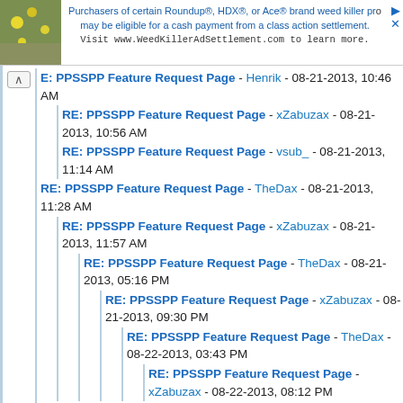[Figure (screenshot): Advertisement banner for WeedKillerAdSettlement.com with a flower photo on the left and text about Roundup, HDX, Ace brand weed killer class action settlement]
E: PPSSPP Feature Request Page - Henrik - 08-21-2013, 10:46 AM
RE: PPSSPP Feature Request Page - xZabuzax - 08-21-2013, 10:56 AM
RE: PPSSPP Feature Request Page - vsub_ - 08-21-2013, 11:14 AM
RE: PPSSPP Feature Request Page - TheDax - 08-21-2013, 11:28 AM
RE: PPSSPP Feature Request Page - xZabuzax - 08-21-2013, 11:57 AM
RE: PPSSPP Feature Request Page - TheDax - 08-21-2013, 05:16 PM
RE: PPSSPP Feature Request Page - xZabuzax - 08-21-2013, 09:30 PM
RE: PPSSPP Feature Request Page - TheDax - 08-22-2013, 03:43 PM
RE: PPSSPP Feature Request Page - xZabuzax - 08-22-2013, 08:12 PM
RE: PPSSPP Feature Request Page - TheDax - 08-21-2013, 12:08 PM
RE: PPSSPP Feature Request Page - xZabuzax - 08-21-2013, 03:32 PM
RE: PPSSPP Feature Request Page - arg274 - 08-21-2013, 03:13 PM
RE: PPSSPP Feature Request Page - xragnarok - 08-21-2013, 04:21 PM